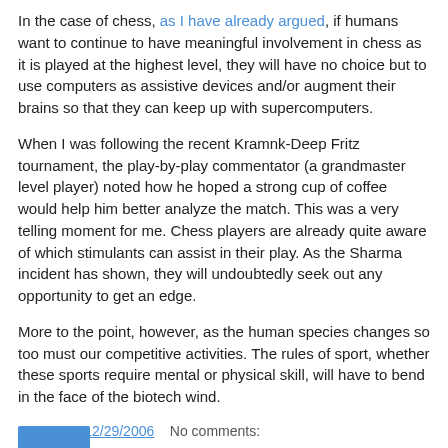In the case of chess, as I have already argued, if humans want to continue to have meaningful involvement in chess as it is played at the highest level, they will have no choice but to use computers as assistive devices and/or augment their brains so that they can keep up with supercomputers.
When I was following the recent Kramnk-Deep Fritz tournament, the play-by-play commentator (a grandmaster level player) noted how he hoped a strong cup of coffee would help him better analyze the match. This was a very telling moment for me. Chess players are already quite aware of which stimulants can assist in their play. As the Sharma incident has shown, they will undoubtedly seek out any opportunity to get an edge.
More to the point, however, as the human species changes so too must our competitive activities. The rules of sport, whether these sports require mental or physical skill, will have to bend in the face of the biotech wind.
George at 12/29/2006    No comments: